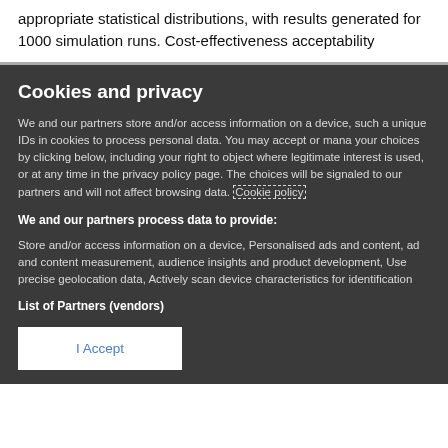appropriate statistical distributions, with results generated for 1000 simulation runs. Cost-effectiveness acceptability
Cookies and privacy
We and our partners store and/or access information on a device, such as unique IDs in cookies to process personal data. You may accept or manage your choices by clicking below, including your right to object where legitimate interest is used, or at any time in the privacy policy page. These choices will be signaled to our partners and will not affect browsing data. Cookie policy
We and our partners process data to provide:
Store and/or access information on a device, Personalised ads and content, ad and content measurement, audience insights and product development, Use precise geolocation data, Actively scan device characteristics for identification
List of Partners (vendors)
I Accept